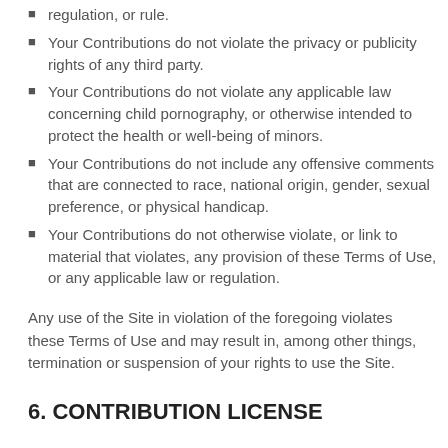regulation, or rule.
Your Contributions do not violate the privacy or publicity rights of any third party.
Your Contributions do not violate any applicable law concerning child pornography, or otherwise intended to protect the health or well-being of minors.
Your Contributions do not include any offensive comments that are connected to race, national origin, gender, sexual preference, or physical handicap.
Your Contributions do not otherwise violate, or link to material that violates, any provision of these Terms of Use, or any applicable law or regulation.
Any use of the Site in violation of the foregoing violates these Terms of Use and may result in, among other things, termination or suspension of your rights to use the Site.
6. CONTRIBUTION LICENSE